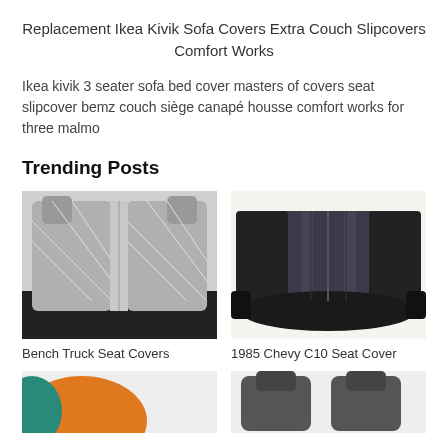Replacement Ikea Kivik Sofa Covers Extra Couch Slipcovers Comfort Works
Ikea kivik 3 seater sofa bed cover masters of covers seat slipcover bemz couch siège canapé housse comfort works for three malmo
Trending Posts
[Figure (photo): Gray bench truck seat covers with diamond pattern upholstery]
Bench Truck Seat Covers
[Figure (photo): 1985 Chevy C10 black leather bench seat cover]
1985 Chevy C10 Seat Cover
[Figure (photo): Orange and teal child seat cover (partially visible)]
[Figure (photo): Dark gray car seat covers (partially visible)]